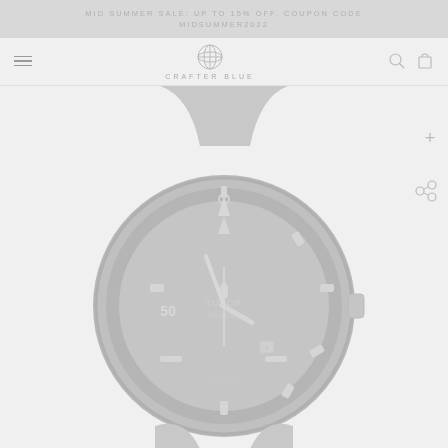MID SUMMER SALE: UP TO 15% OFF. COUPON CODE MIDSUMMER2022
[Figure (logo): Crafter Blue logo - a globe icon with the text CRAFTER BLUE below it]
[Figure (photo): Tudor Pelagos watch with dark rubber strap, black dive bezel, and silver dial showing '50' marker and TUDOR GENEVE branding with Pelagos Chronometer text at bottom]